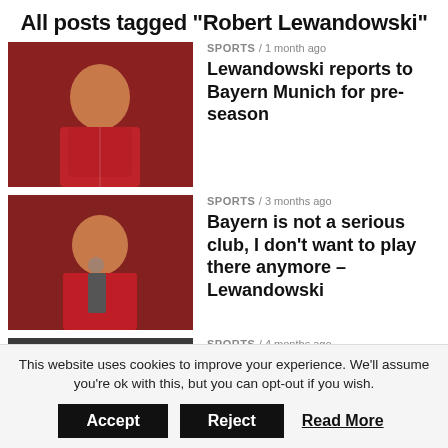All posts tagged "Robert Lewandowski"
SPORTS / 1 month ago
Lewandowski reports to Bayern Munich for pre-season
SPORTS / 3 months ago
Bayern is not a serious club, I don't want to play there anymore – Lewandowski
SPORTS / 4 months ago
Lewandowksi reaches agreement with Barcelona & will sign a 3-year-deal
SPORTS / 5 months ago
Lewandowski in shock move to Barcelona
This website uses cookies to improve your experience. We'll assume you're ok with this, but you can opt-out if you wish.